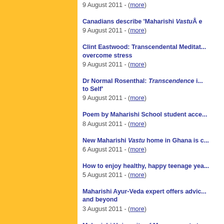9 August 2011 - (more)
Canadians describe 'Maharishi Vastu e... 9 August 2011 - (more)
Clint Eastwood: Transcendental Meditation... overcome stress 9 August 2011 - (more)
Dr Normal Rosenthal: Transcendence i... to Self' 9 August 2011 - (more)
Poem by Maharishi School student acce... 8 August 2011 - (more)
New Maharishi Vastu home in Ghana is... 6 August 2011 - (more)
How to enjoy healthy, happy teenage yea... 5 August 2011 - (more)
Maharishi Ayur-Veda expert offers advic... and beyond 3 August 2011 - (more)
Maharishi University of Management stu... veterans 3 August 2011 - (more)
Solar powered radio station's 'Dream C...